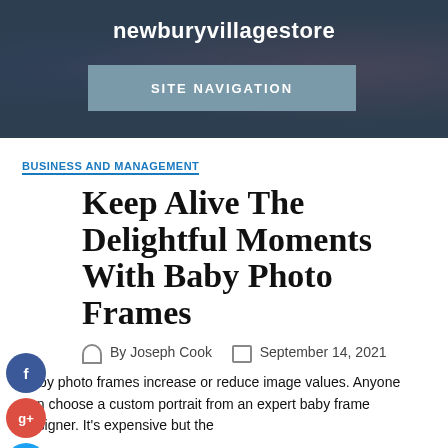newburyvillagestore
SITE NAVIGATION
BUSINESS AND MANAGEMENT
Keep Alive The Delightful Moments With Baby Photo Frames
By Joseph Cook  September 14, 2021
Baby photo frames increase or reduce image values. Anyone can choose a custom portrait from an expert baby frame designer. It's expensive but the...